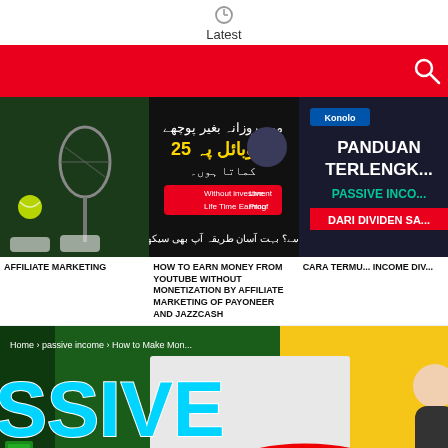Latest
[Figure (screenshot): Red navigation bar with search icon]
[Figure (screenshot): Three thumbnail images: tennis racket/ball, Urdu earn money video, Kanola passive income from dividends]
AFFILIATE MARKETING
HOW TO EARN MONEY FROM YOUTUBE WITHOUT MONETIZATION BY AFFILIATE MARKETING OF PAYONEER AND JAZZCASH
CARA TERMU... INCOME DIV...
[Figure (screenshot): Passive income promo image showing $49.99 USD payment on 02/20/22 6:30am with red arrow and circle, breadcrumb navigation: Home > passive income > How to Make Mon...]